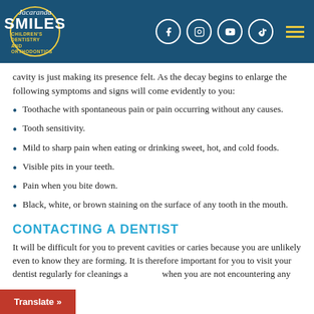[Figure (logo): Jacaranda Smiles Children's Dentistry and Orthodontics logo with social media icons (Facebook, Instagram, YouTube, TikTok) and hamburger menu on dark blue header background]
cavity is just making its presence felt. As the decay begins to enlarge the following symptoms and signs will come evidently to you:
Toothache with spontaneous pain or pain occurring without any causes.
Tooth sensitivity.
Mild to sharp pain when eating or drinking sweet, hot, and cold foods.
Visible pits in your teeth.
Pain when you bite down.
Black, white, or brown staining on the surface of any tooth in the mouth.
CONTACTING A DENTIST
It will be difficult for you to prevent cavities or caries because you are unlikely even to know they are forming. It is therefore important for you to visit your dentist regularly for cleanings a... when you are not encountering any
Translate »